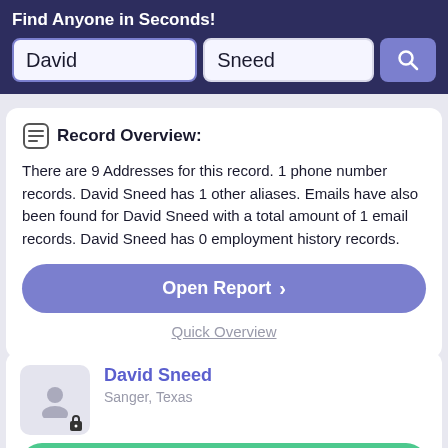Find Anyone in Seconds!
David
Sneed
Record Overview:
There are 9 Addresses for this record. 1 phone number records. David Sneed has 1 other aliases. Emails have also been found for David Sneed with a total amount of 1 email records. David Sneed has 0 employment history records.
Open Report >
Quick Overview
David Sneed
Sanger, Texas
Verified Match